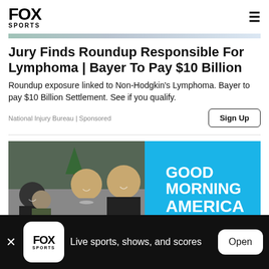FOX SPORTS
Jury Finds Roundup Responsible For Lymphoma | Bayer To Pay $10 Billion
Roundup exposure linked to Non-Hodgkin's Lymphoma. Bayer to pay $10 Billion Settlement. See if you qualify.
National Injury Bureau | Sponsored
Sign Up
[Figure (photo): Women on Good Morning America set, smiling, with GMA logo visible in background]
Live sports, shows, and scores
Open